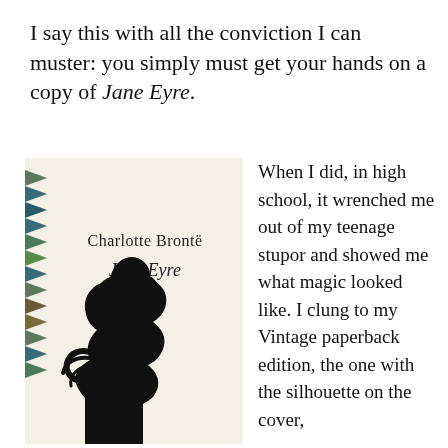I say this with all the conviction I can muster: you simply must get your hands on a copy of Jane Eyre.
[Figure (illustration): Book cover of Jane Eyre by Charlotte Brontë — cream/off-white background with a dark silhouette of a woman's profile with hair in a bun, plus a decorative zigzag triangle pattern in dark teal/brown/green on the left spine area. Text on cover reads 'Charlotte Brontë' and 'Jane Eyre' in serif font.]
When I did, in high school, it wrenched me out of my teenage stupor and showed me what magic looked like. I clung to my Vintage paperback edition, the one with the silhouette on the cover,